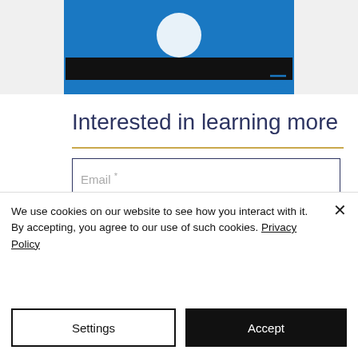[Figure (screenshot): Website screenshot showing a blue background with a white circular logo/icon at the top, and a black bar below it, with small menu lines visible on the right side on a blue background.]
Interested in learning more
Email *
Name *
Subject
We use cookies on our website to see how you interact with it. By accepting, you agree to our use of such cookies. Privacy Policy
Settings
Accept